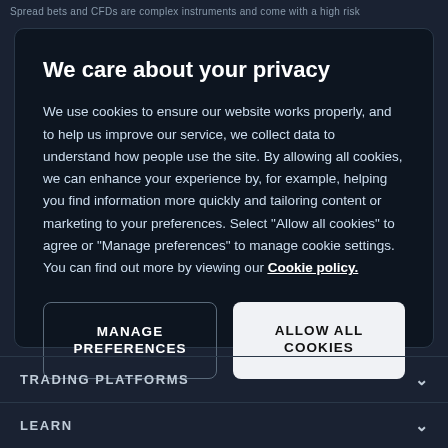Spread bets and CFDs are complex instruments and come with a high risk
We care about your privacy
We use cookies to ensure our website works properly, and to help us improve our service, we collect data to understand how people use the site. By allowing all cookies, we can enhance your experience by, for example, helping you find information more quickly and tailoring content or marketing to your preferences. Select “Allow all cookies” to agree or “Manage preferences” to manage cookie settings. You can find out more by viewing our Cookie policy.
MANAGE PREFERENCES
ALLOW ALL COOKIES
TRADING PLATFORMS
LEARN